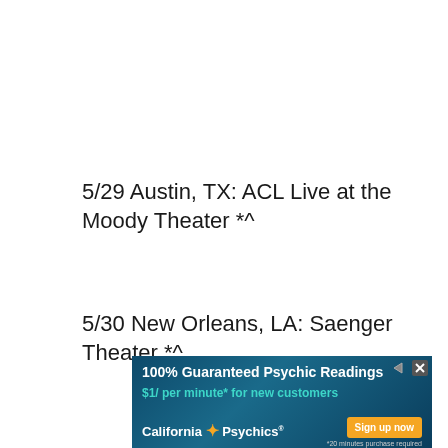5/29 Austin, TX: ACL Live at the Moody Theater *^
5/30 New Orleans, LA: Saenger Theater *^
[Figure (other): Advertisement banner for California Psychics: '100% Guaranteed Psychic Readings', '$1/ per minute* for new customers', 'California Psychics', 'Sign up now' button, '*20 minutes purchase required']